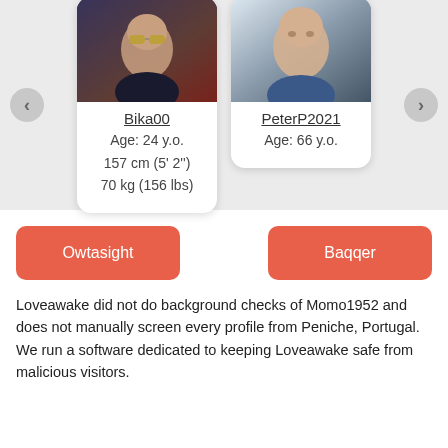[Figure (screenshot): Dating profile carousel showing two user cards: Bika00 (Age: 24 y.o., 157 cm (5' 2"), 70 kg (156 lbs)) and PeterP2021 (Age: 66 y.o.) with left and right navigation arrows]
Owtasight
Baqqer
Loveawake did not do background checks of Momo1952 and does not manually screen every profile from Peniche, Portugal. We run a software dedicated to keeping Loveawake safe from malicious visitors.